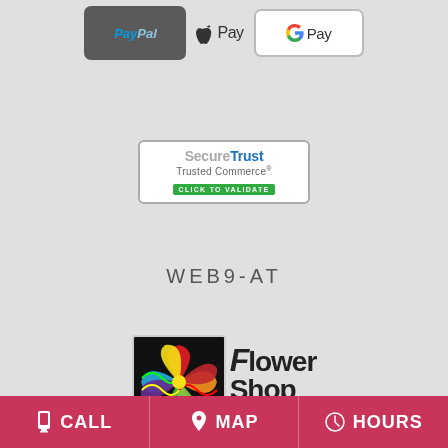[Figure (logo): PayPal payment button logo (dark grey rounded rectangle)]
[Figure (logo): Apple Pay payment button with Apple logo]
[Figure (logo): Google Pay payment button (white rounded rectangle with G Pay text)]
[Figure (logo): SecureTrust Trusted Commerce badge with CLICK TO VALIDATE green button]
WEB9-AT
[Figure (logo): Flower Shop Network .com logo with colorful flower icon]
BUNKIE, LA FUNERAL HOMES | BUNKIE, LA HOSPITALS | BUNKIE, LA WEDDING FLOWER VENDORS BUNKIE, LA WEATHER | LA STATE GOVERNMENT SITE
CALL  MAP  HOURS